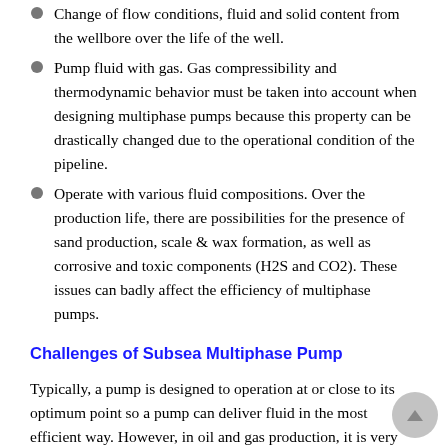Change of flow conditions, fluid and solid content from the wellbore over the life of the well.
Pump fluid with gas. Gas compressibility and thermodynamic behavior must be taken into account when designing multiphase pumps because this property can be drastically changed due to the operational condition of the pipeline.
Operate with various fluid compositions. Over the production life, there are possibilities for the presence of sand production, scale & wax formation, as well as corrosive and toxic components (H2S and CO2). These issues can badly affect the efficiency of multiphase pumps.
Challenges of Subsea Multiphase Pump
Typically, a pump is designed to operation at or close to its optimum point so a pump can deliver fluid in the most efficient way. However, in oil and gas production, it is very difficult to